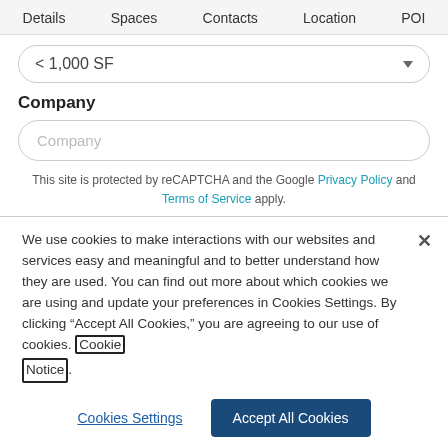Details  Spaces  Contacts  Location  POI
< 1,000 SF
Company
Company
This site is protected by reCAPTCHA and the Google Privacy Policy and Terms of Service apply.
We use cookies to make interactions with our websites and services easy and meaningful and to better understand how they are used. You can find out more about which cookies we are using and update your preferences in Cookies Settings. By clicking “Accept All Cookies,” you are agreeing to our use of cookies. Cookie Notice.
Cookies Settings
Accept All Cookies